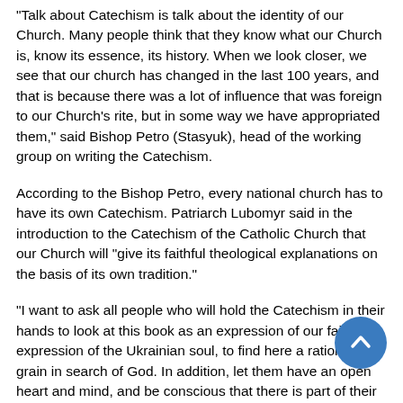"Talk about Catechism is talk about the identity of our Church. Many people think that they know what our Church is, know its essence, its history. When we look closer, we see that our church has changed in the last 100 years, and that is because there was a lot of influence that was foreign to our Church's rite, but in some way we have appropriated them," said Bishop Petro (Stasyuk), head of the working group on writing the Catechism.
According to the Bishop Petro, every national church has to have its own Catechism. Patriarch Lubomyr said in the introduction to the Catechism of the Catholic Church that our Church will "give its faithful theological explanations on the basis of its own tradition."
"I want to ask all people who will hold the Catechism in their hands to look at this book as an expression of our faith, an expression of the Ukrainian soul, to find here a rational grain in search of God. In addition, let them have an open heart and mind, and be conscious that there is part of their inheritance in this book," concluded the bishop.